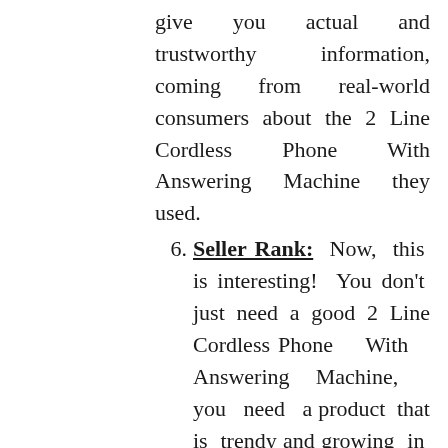give you actual and trustworthy information, coming from real-world consumers about the 2 Line Cordless Phone With Answering Machine they used.
Seller Rank: Now, this is interesting! You don't just need a good 2 Line Cordless Phone With Answering Machine, you need a product that is trendy and growing in sales. It serves two objectives. Firstly, the growing number of users indicates the product is